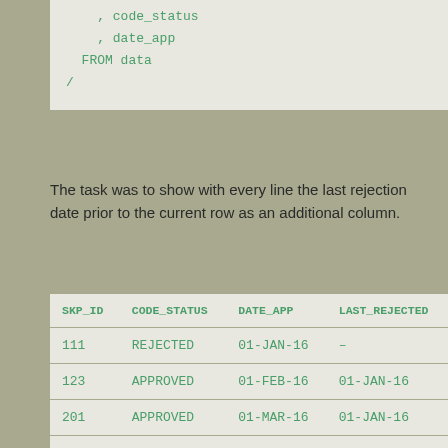, code_status
    , date_app
  FROM data
/
The task was to show with every line the last rejection date prior to the current row as an additional column.
| SKP_ID | CODE_STATUS | DATE_APP | LAST_REJECTED |
| --- | --- | --- | --- |
| 111 | REJECTED | 01-JAN-16 | – |
| 123 | APPROVED | 01-FEB-16 | 01-JAN-16 |
| 201 | APPROVED | 01-MAR-16 | 01-JAN-16 |
| 302 | REJECTED | 01-APR-16 | 01-JAN-16 |
| 403 | REJECTED | 01-... | 01-APR-16 |